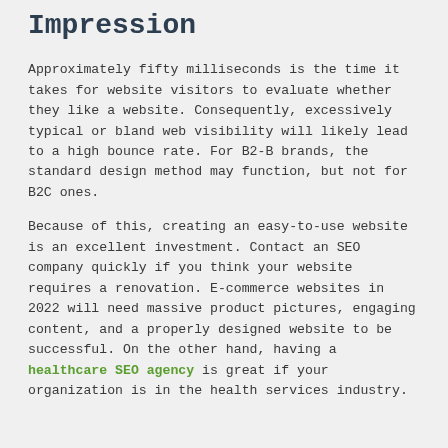Impression
Approximately fifty milliseconds is the time it takes for website visitors to evaluate whether they like a website. Consequently, excessively typical or bland web visibility will likely lead to a high bounce rate. For B2-B brands, the standard design method may function, but not for B2C ones.
Because of this, creating an easy-to-use website is an excellent investment. Contact an SEO company quickly if you think your website requires a renovation. E-commerce websites in 2022 will need massive product pictures, engaging content, and a properly designed website to be successful. On the other hand, having a healthcare SEO agency is great if your organization is in the health services industry.